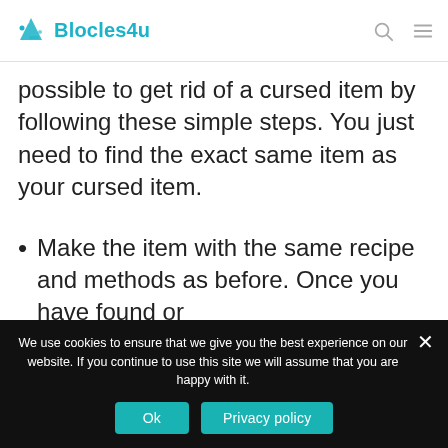Blocles4u
possible to get rid of a cursed item by following these simple steps. You just need to find the exact same item as your cursed item.
Make the item with the same recipe and methods as before. Once you have found or
We use cookies to ensure that we give you the best experience on our website. If you continue to use this site we will assume that you are happy with it.